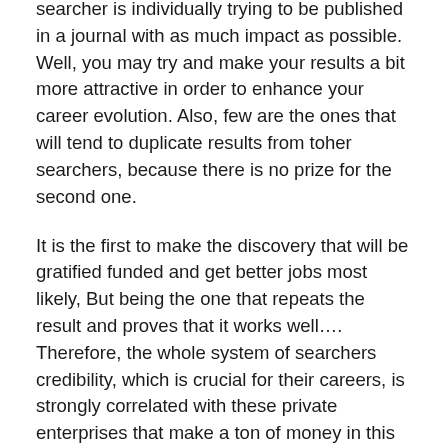searcher is individually trying to be published in a journal with as much impact as possible. Well, you may try and make your results a bit more attractive in order to enhance your career evolution. Also, few are the ones that will tend to duplicate results from toher searchers, because there is no prize for the second one.
It is the first to make the discovery that will be gratified funded and get better jobs most likely, But being the one that repeats the result and proves that it works well…. Therefore, the whole system of searchers credibility, which is crucial for their careers, is strongly correlated with these private enterprises that make a ton of money in this process. Still, let me moderate a bit. I stay convinced that research is the best tool.
We have to understand the world and it works, But there is a soft bias because of those private companies and in a